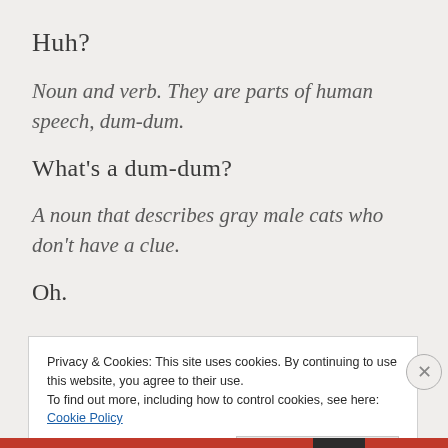Huh?
Noun and verb. They are parts of human speech, dum-dum.
What's a dum-dum?
A noun that describes gray male cats who don't have a clue.
Oh.
Privacy & Cookies: This site uses cookies. By continuing to use this website, you agree to their use.
To find out more, including how to control cookies, see here: Cookie Policy
Close and accept